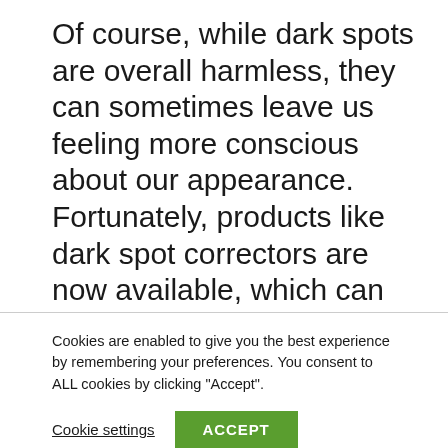Of course, while dark spots are overall harmless, they can sometimes leave us feeling more conscious about our appearance. Fortunately, products like dark spot correctors are now available, which can help you get rid of those dark areas and enjoy a more even skin tone.

However, you will need to choose the product you use carefully, especially if
Cookies are enabled to give you the best experience by remembering your preferences. You consent to ALL cookies by clicking "Accept".
Cookie settings
ACCEPT